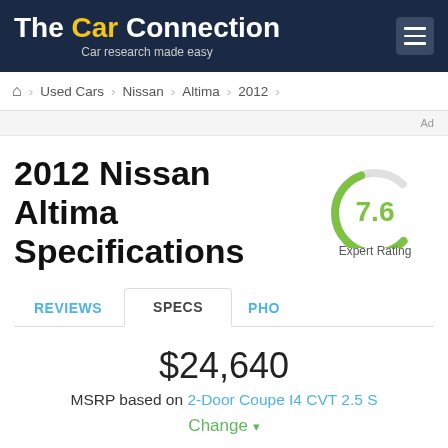The Car Connection — Car research made easy
Used Cars > Nissan > Altima > 2012
Ad
2012 Nissan Altima Specifications
[Figure (other): Circular gauge showing Expert Rating of 7.6, with a green arc and gray arc on a white circle background]
Expert Rating
REVIEWS
SPECS
PHO
$24,640
MSRP based on 2-Door Coupe I4 CVT 2.5 S
Change